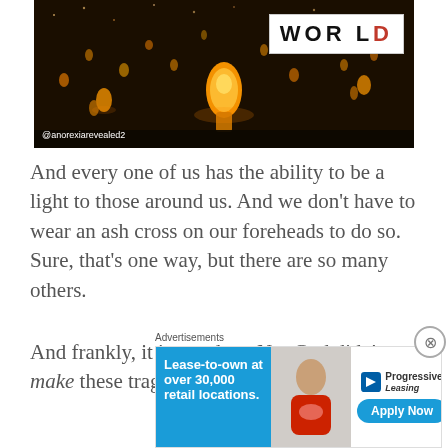[Figure (photo): Night sky photo of floating sky lanterns (fire lanterns) with a white badge overlay reading 'WORLD' in bold letters, and a photo credit '@anorexiarevealed2' in the lower left.]
And every one of us has the ability to be a light to those around us. And we don't have to wear an ash cross on our foreheads to do so. Sure, that's one way, but there are so many others.
And frankly, it is our duty. No, God didn't make these tragedies happen — just like He
Advertisements